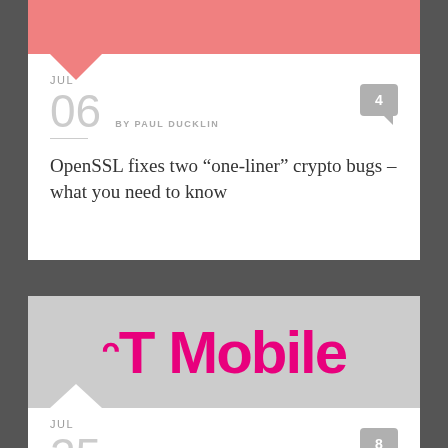[Figure (illustration): Pink salmon-colored banner with mountain/chevron shape pointing downward]
JUL
06  BY PAUL DUCKLIN
4
OpenSSL fixes two “one-liner” crypto bugs – what you need to know
[Figure (logo): T-Mobile magenta/pink logo on gray background with mountain chevron at bottom]
JUL
25  BY PAUL DUCKLIN
8